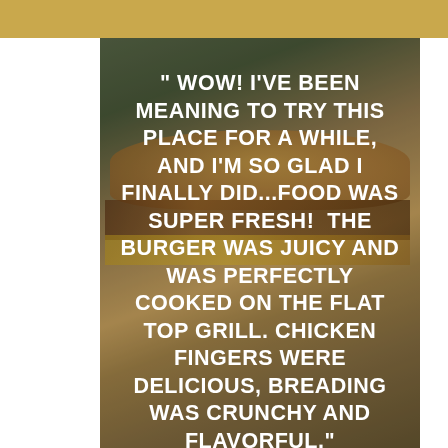[Figure (photo): Close-up photo of a stacked cheeseburger with sesame seed bun, melted cheese, and meat patty on a wooden surface, with blurred green background. A gold/mustard colored bar spans the top of the image. White bold uppercase text overlays the image with a customer review quote.]
" WOW! I'VE BEEN MEANING TO TRY THIS PLACE FOR A WHILE, AND I'M SO GLAD I FINALLY DID...FOOD WAS SUPER FRESH!  THE BURGER WAS JUICY AND WAS PERFECTLY COOKED ON THE FLAT TOP GRILL. CHICKEN FINGERS WERE DELICIOUS, BREADING WAS CRUNCHY AND FLAVORFUL."